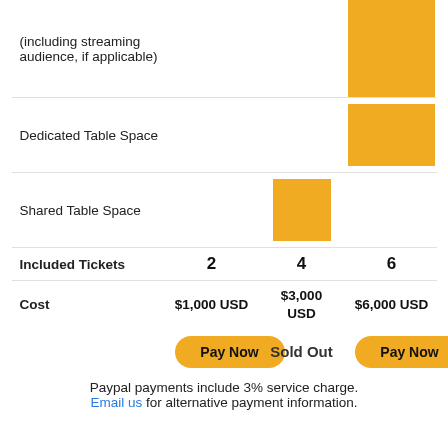|  | Silver | Gold | Platinum |
| --- | --- | --- | --- |
| (including streaming audience, if applicable) |  |  | ■ (gold block) |
| Dedicated Table Space |  |  | ■ (gold block) |
| Shared Table Space |  | ■ (gold block) |  |
| Included Tickets | 2 | 4 | 6 |
| Cost | $1,000 USD | $3,000 USD | $6,000 USD |
|  | Pay Now | Sold Out | Pay Now |
Paypal payments include 3% service charge. Email us for alternative payment information.